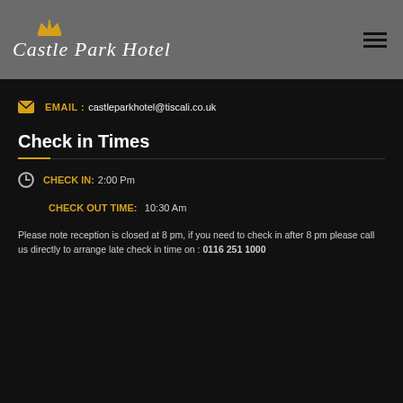[Figure (logo): Castle Park Hotel logo with gold crown icon above cursive white text 'Castle Park Hotel' on grey background]
EMAIL : castleparkhotel@tiscali.co.uk
Check in Times
CHECK IN: 2:00 Pm
CHECK OUT TIME: 10:30 Am
Please note reception is closed at 8 pm, if you need to check in after 8 pm please call us directly to arrange late check in time on : 0116 251 1000